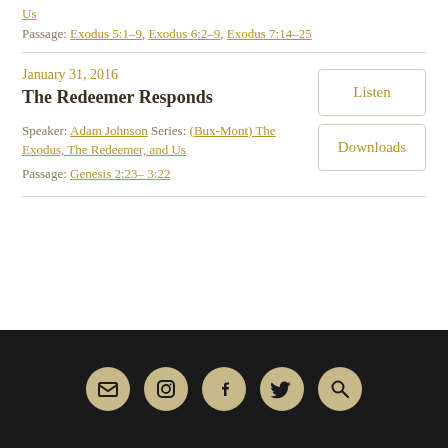Us
Passage: Exodus 5:1–9, Exodus 6:2–9, Exodus 7:14–25
January 31, 2016
The Redeemer Responds
Speaker: Adam Johnson Series: (Bux-Mont) The Exodus, The Redeemer, and Us
Passage: Genesis 2:23– 3:22
[Figure (other): Footer navigation bar with dark background containing five circular icon buttons: email, instagram, facebook, twitter, search]